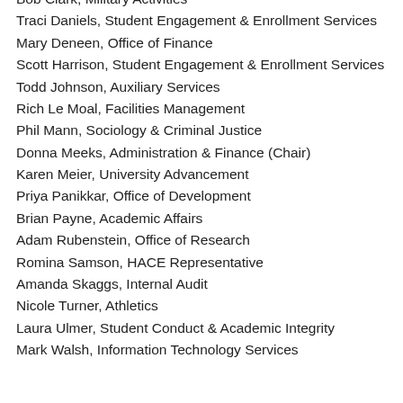Bob Clark, Military Activities
Traci Daniels, Student Engagement & Enrollment Services
Mary Deneen, Office of Finance
Scott Harrison, Student Engagement & Enrollment Services
Todd Johnson, Auxiliary Services
Rich Le Moal, Facilities Management
Phil Mann, Sociology & Criminal Justice
Donna Meeks, Administration & Finance (Chair)
Karen Meier, University Advancement
Priya Panikkar, Office of Development
Brian Payne, Academic Affairs
Adam Rubenstein, Office of Research
Romina Samson, HACE Representative
Amanda Skaggs, Internal Audit
Nicole Turner, Athletics
Laura Ulmer, Student Conduct & Academic Integrity
Mark Walsh, Information Technology Services